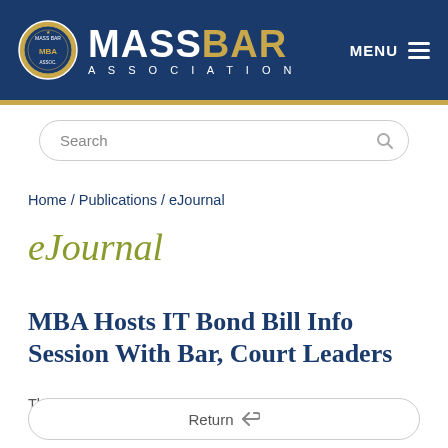[Figure (logo): Mass Bar Association logo with seal, MASSBAR in white and gold, ASSOCIATION in spaced white letters, and MENU hamburger icon on dark blue header background]
Search
Home / Publications / eJournal
eJournal
MBA Hosts IT Bond Bill Info Session With Bar, Court Leaders
Thursday, Dec. 9, 2021
Return